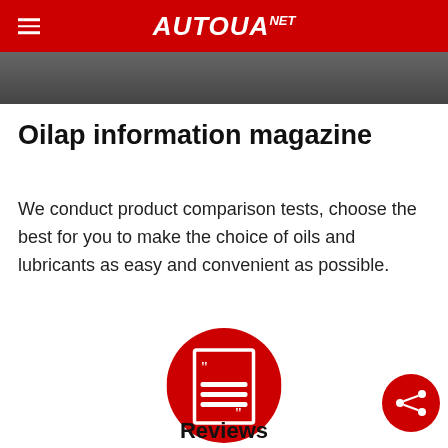AUTOUANET
[Figure (photo): Dark-toned photo strip partially visible below the header navigation bar]
Oilap information magazine
We conduct product comparison tests, choose the best for you to make the choice of oils and lubricants as easy and convenient as possible.
[Figure (illustration): Large red circle icon containing a document/magazine icon with quotation marks and horizontal lines]
[Figure (illustration): Small red circle share/network icon in the bottom-right area]
Reviews